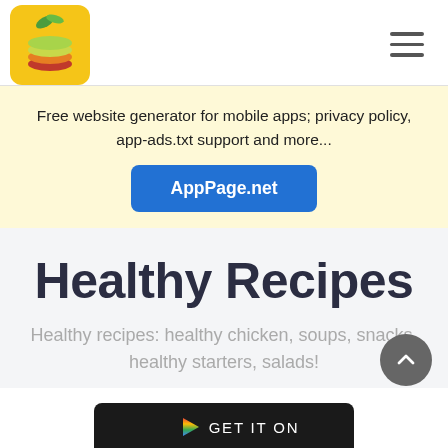[Figure (logo): App logo: yellow square with sliced apple illustration and green leaves]
Free website generator for mobile apps; privacy policy, app-ads.txt support and more...
AppPage.net
Healthy Recipes
Healthy recipes: healthy chicken, soups, snacks, healthy starters, salads!
GET IT ON